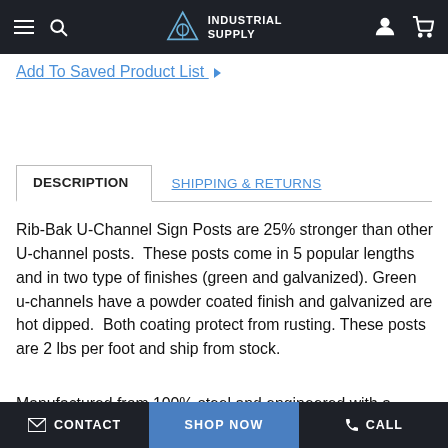INDUSTRIAL SUPPLY
Add To Saved Product List
DESCRIPTION | SHIPPING & RETURNS
Rib-Bak U-Channel Sign Posts are 25% stronger than other U-channel posts.  These posts come in 5 popular lengths and in two type of finishes (green and galvanized).  Green u-channels have a powder coated finish and galvanized are hot dipped.  Both coating protect from rusting. These posts are 2 lbs per foot and ship from stock.
Manufactured from 100% steel and engineered with a
CONTACT | SHOP NOW | CALL